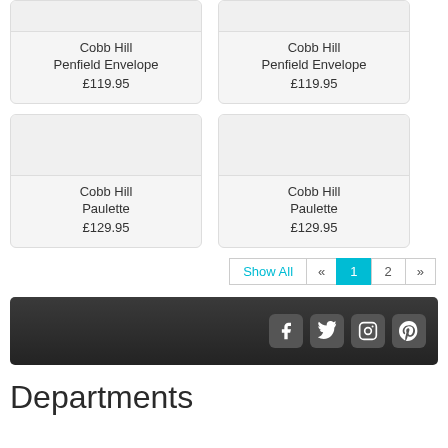Cobb Hill Penfield Envelope £119.95
Cobb Hill Penfield Envelope £119.95
Cobb Hill Paulette £129.95
Cobb Hill Paulette £129.95
Show All « 1 2 »
[Figure (other): Footer bar with social media icons: Facebook, Twitter, Instagram, Pinterest]
Departments